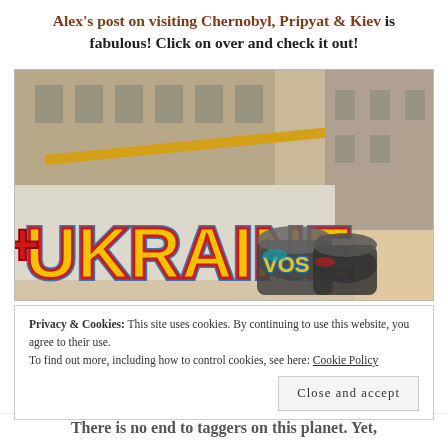Alex's post on visiting Chernobyl, Pripyat & Kiev is fabulous! Click on over and check it out!
[Figure (photo): Street photo showing colorful graffiti with the word 'UKRAINE' painted in large yellow and red bubble letters on a wall, with overturned or stacked garbage bins covered in graffiti in the foreground, and a multi-storey building with balconies in the background. A yellow pipe or railing runs diagonally across the upper portion of the image.]
Privacy & Cookies: This site uses cookies. By continuing to use this website, you agree to their use.
To find out more, including how to control cookies, see here: Cookie Policy
There is no end to taggers on this planet. Yet,